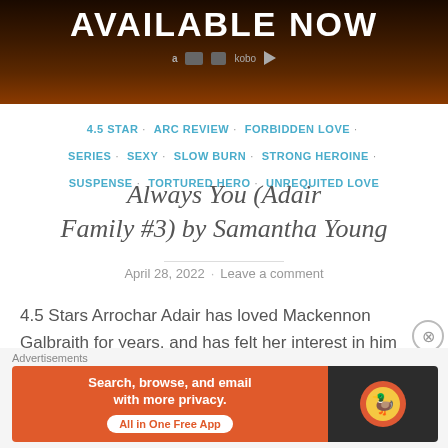[Figure (illustration): Dark banner image with text 'AVAILABLE NOW' in large white bold letters, with retailer icons (Amazon, Kobo, Barnes & Noble, play button) below on a dark brown/black background.]
4.5 STAR · ARC REVIEW · FORBIDDEN LOVE · SERIES · SEXY · SLOW BURN · STRONG HEROINE · SUSPENSE · TORTURED HERO · UNREQUITED LOVE
Always You (Adair Family #3) by Samantha Young
April 28, 2022 · Leave a comment
4.5 Stars Arrochar Adair has loved Mackennon Galbraith for years, and has felt her interest in him reciprocated on quite a few occasions, only to fizzle out in the end. But
[Figure (advertisement): DuckDuckGo advertisement banner: orange left section with text 'Search, browse, and email with more privacy. All in One Free App' and dark right section with DuckDuckGo logo.]